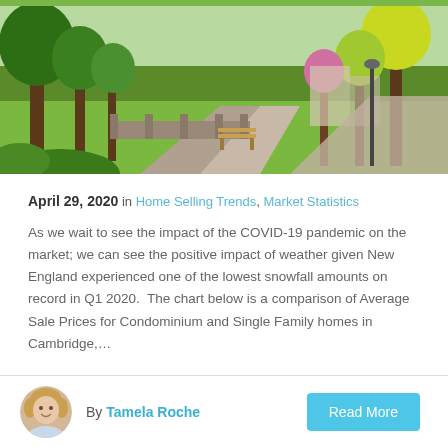[Figure (photo): Park scene with tree-lined brick pathway, benches, green lawn and trees in spring foliage]
April 29, 2020 in Home Selling Trends, Market Statistics
As we wait to see the impact of the COVID-19 pandemic on the market; we can see the positive impact of weather given New England experienced one of the lowest snowfall amounts on record in Q1 2020.  The chart below is a comparison of Average Sale Prices for Condominium and Single Family homes in Cambridge,...
By Tamela Roche